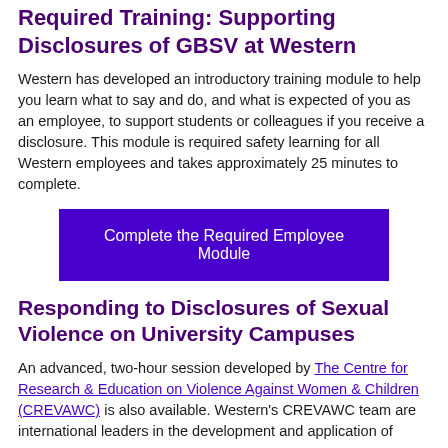Required Training: Supporting Disclosures of GBSV at Western
Western has developed an introductory training module to help you learn what to say and do, and what is expected of you as an employee, to support students or colleagues if you receive a disclosure. This module is required safety learning for all Western employees and takes approximately 25 minutes to complete.
[Figure (other): Purple button labeled 'Complete the Required Employee Module']
Responding to Disclosures of Sexual Violence on University Campuses
An advanced, two-hour session developed by The Centre for Research & Education on Violence Against Women & Children (CREVAWC) is also available. Western's CREVAWC team are international leaders in the development and application of